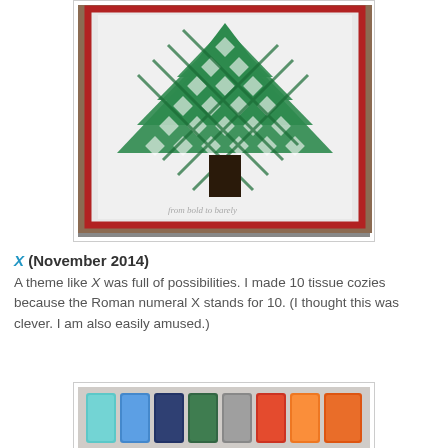[Figure (photo): A Christmas tree quilt hanging on a brick wall. The quilt has a white background with green lattice/woven strip pattern forming a tree shape, with a dark brown trunk. The quilt has a red border. Text at the bottom reads 'from bold to barely'.]
X (November 2014)
A theme like X was full of possibilities. I made 10 tissue cozies because the Roman numeral X stands for 10. (I thought this was clever. I am also easily amused.)
[Figure (photo): A row of colorful tissue cozies in various fabric patterns arranged side by side.]